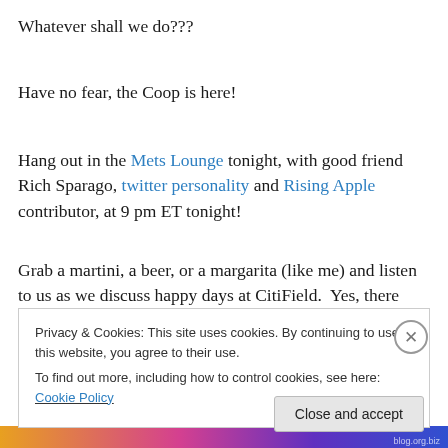Whatever shall we do???
Have no fear, the Coop is here!
Hang out in the Mets Lounge tonight, with good friend Rich Sparago, twitter personality and Rising Apple contributor, at 9 pm ET tonight!
Grab a martini, a beer, or a margarita (like me) and listen to us as we discuss happy days at CitiField.  Yes, there have been a few.  But also a reminder that good days will be here again.
Privacy & Cookies: This site uses cookies. By continuing to use this website, you agree to their use.
To find out more, including how to control cookies, see here: Cookie Policy
Close and accept